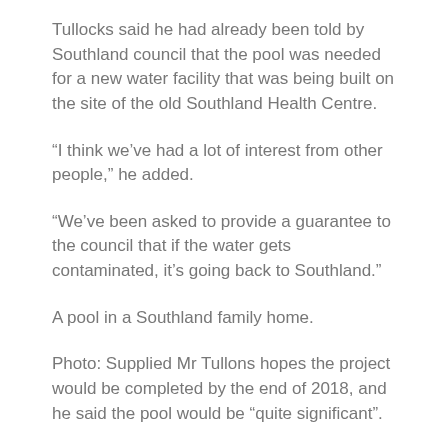Tullocks said he had already been told by Southland council that the pool was needed for a new water facility that was being built on the site of the old Southland Health Centre.
“I think we’ve had a lot of interest from other people,” he added.
“We’ve been asked to provide a guarantee to the council that if the water gets contaminated, it’s going back to Southland.”
A pool in a Southland family home.
Photo: Supplied Mr Tullons hopes the project would be completed by the end of 2018, and he said the pool would be “quite significant”.
“We’re going to have some really good, large swimming